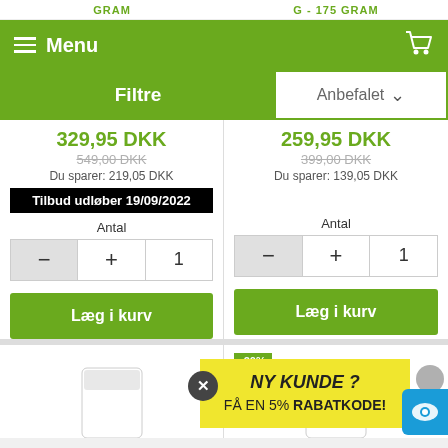GRAM | G - 175 GRAM
Menu
Filtre
Anbefalet
329,95 DKK
259,95 DKK
549,00 DKK
Du sparer: 219,05 DKK
Tilbud udløber 19/09/2022
Antal
399,00 DKK
Du sparer: 139,05 DKK
Antal
Læg i kurv
Læg i kurv
-20%
NY KUNDE ? FÅ EN 5% RABATKODE!